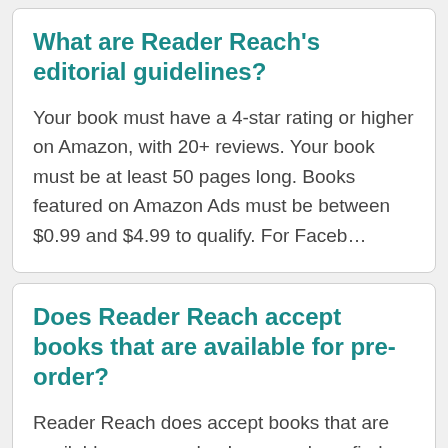What are Reader Reach's editorial guidelines?
Your book must have a 4-star rating or higher on Amazon, with 20+ reviews. Your book must be at least 50 pages long. Books featured on Amazon Ads must be between $0.99 and $4.99 to qualify. For Faceb…
Does Reader Reach accept books that are available for pre-order?
Reader Reach does accept books that are available on pre-order. In general, we find that pre-order titles sell fewer copies compared to titles that are already